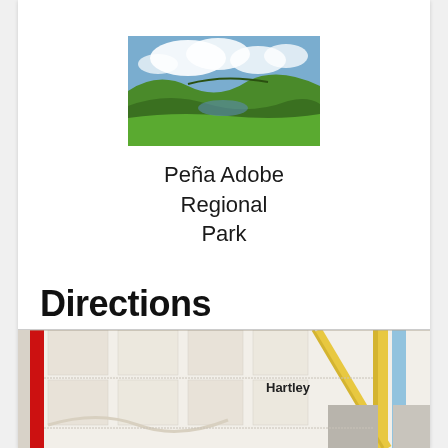[Figure (photo): Aerial/landscape photo of Peña Adobe Regional Park showing green rolling hills, a body of water, and blue sky with clouds]
Peña Adobe Regional Park
Directions
[Figure (map): Street map showing Hartley area with a red route line on the left side, yellow roads, and grid of streets. 'Hartley' label visible in the center-right area.]